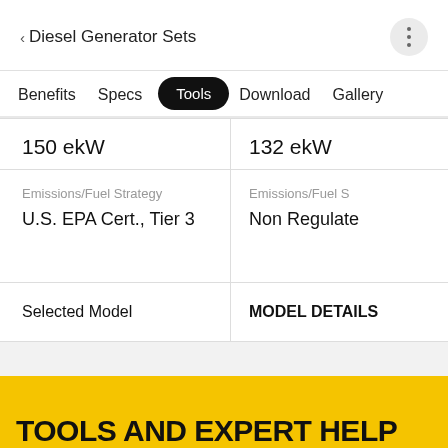< Diesel Generator Sets
Benefits | Specs | Tools (active) | Download | Gallery
| Left Column | Right Column |
| --- | --- |
| 150 ekW | 132 ekW |
| Emissions/Fuel Strategy
U.S. EPA Cert., Tier 3 | Emissions/Fuel S...
Non Regulated... |
| Selected Model | MODEL DETAILS |
TOOLS AND EXPERT HELP AT EVERY